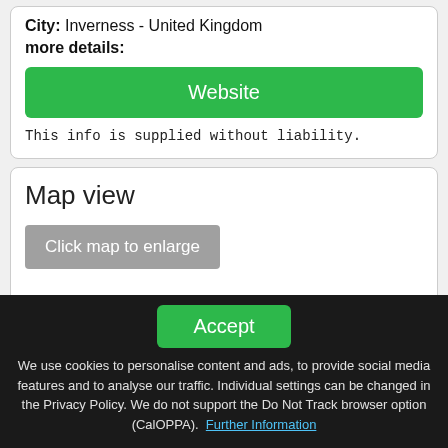City: Inverness - United Kingdom
more details:
Website
This info is supplied without liability.
Map view
Click map to enlarge
Accept
We use cookies to personalise content and ads, to provide social media features and to analyse our traffic. Individual settings can be changed in the Privacy Policy. We do not support the Do Not Track browser option (CalOPPA). Further Information